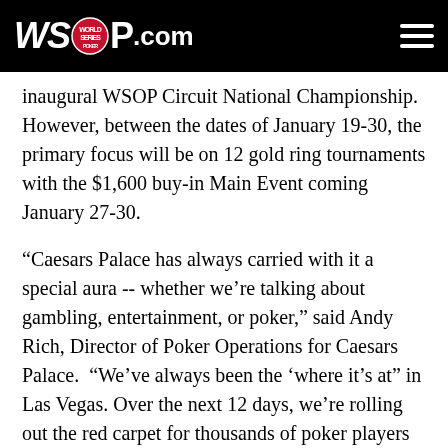WSOP.com
inaugural WSOP Circuit National Championship. However, between the dates of January 19-30, the primary focus will be on 12 gold ring tournaments with the $1,600 buy-in Main Event coming January 27-30.
“Caesars Palace has always carried with it a special aura -- whether we’re talking about gambling, entertainment, or poker,” said Andy Rich, Director of Poker Operations for Caesars Palace. “We’ve always been the ‘where it’s at” in Las Vegas. Over the next 12 days, we’re rolling out the red carpet for thousands of poker players who are expected enter our events and play for a gold ring. As the saying goes, ‘you can’t get a hit if you don’t stand up to the plate and take swing.”
This marks the first time ever that the WSOP Circuit has come to Las Vegas so early in the season. In previous years, WSOP Circuit events have taken place in April. However, with so many exciting activities happening in Las Vegas early in the